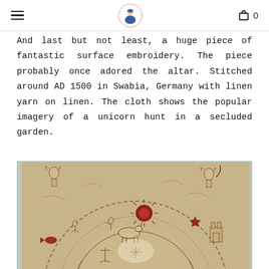≡  [logo]  🛍 0
And last but not least, a huge piece of fantastic surface embroidery. The piece probably once adored the altar. Stitched around AD 1500 in Swabia, Germany with linen yarn on linen. The cloth shows the popular imagery of a unicorn hunt in a secluded garden.
[Figure (photo): Photograph of a large medieval surface embroidery piece showing a circular design with a unicorn hunt scene in a secluded garden. Stitched around AD 1500 in Swabia, Germany. Angels appear in upper corners, and the circular composition contains figures, a red sun, and garden imagery on a linen background. Dark outline stitching on beige/golden linen.]